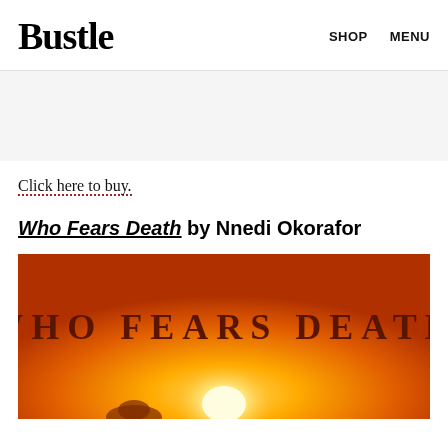Bustle  SHOP  MENU
Click here to buy.
Who Fears Death by Nnedi Okorafor
[Figure (photo): Book cover of 'Who Fears Death' by Nnedi Okorafor. Orange and yellow gradient background resembling a sunset or hot desert sky. The title 'WHO FEARS DEATH' is displayed in large, bold, decorative dark brown/maroon letters across the middle of the cover. A bright glowing orb (sun or light source) is visible near the bottom center, and the silhouette of a figure appears at the bottom edge.]